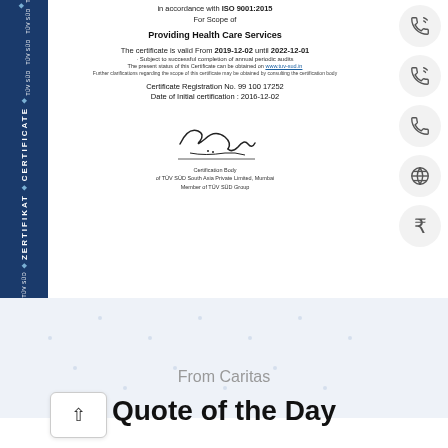[Figure (other): TÜV SÜD certificate sidebar with blue vertical text reading ZERTIFIKAT CERTIFICATE and TÜV SÜD repeated]
in accordance with ISO 9001:2015
For Scope of
Providing Health Care Services
The certificate is valid From 2019-12-02 until 2022-12-01
Subject to successful completion of annual periodic audits
The present status of this Certificate can be obtained on www.tuv-sud.in
Further clarifications regarding the scope of this certificate may be obtained by consulting the certification body
Certificate Registration No. 99 100 17252
Date of Initial certification : 2016-12-02
[Figure (illustration): Handwritten signature of certification body official]
Certification Body
of TÜV SÜD South Asia Private Limited, Mumbai
Member of TÜV SÜD Group
[Figure (other): Right side icons: phone icons, globe icon, rupee symbol in circles]
From Caritas
Quote of the Day